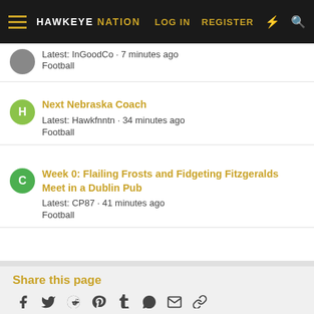HAWKEYE NATION | LOG IN | REGISTER
Latest: InGoodCo · 7 minutes ago
Football
Next Nebraska Coach
Latest: Hawkfnntn · 34 minutes ago
Football
Week 0: Flailing Frosts and Fidgeting Fitzgeralds Meet in a Dublin Pub
Latest: CP87 · 41 minutes ago
Football
Share this page